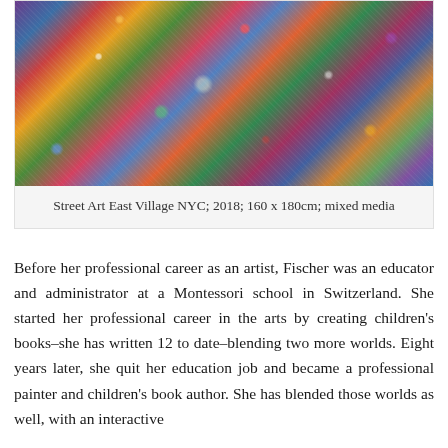[Figure (photo): Abstract mixed media painting with vibrant splashes of color including reds, blues, greens, yellows, and whites on a large canvas — chaotic and energetic street art style.]
Street Art East Village NYC; 2018; 160 x 180cm; mixed media
Before her professional career as an artist, Fischer was an educator and administrator at a Montessori school in Switzerland. She started her professional career in the arts by creating children's books–she has written 12 to date–blending two more worlds. Eight years later, she quit her education job and became a professional painter and children's book author. She has blended those worlds as well, with an interactive